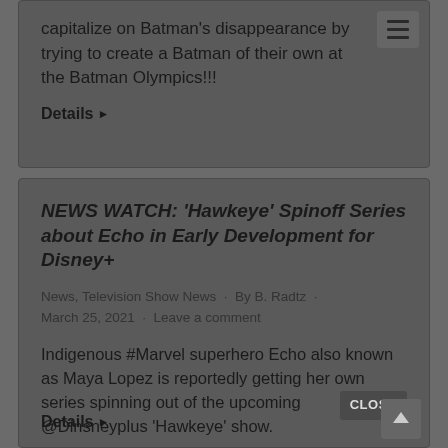capitalize on Batman's disappearance by trying to create a Batman of their own at the Batman Olympics!!!
Details ▶
NEWS WATCH: 'Hawkeye' Spinoff Series about Echo in Early Development for Disney+
News, Television Show News · By B. Radtz · March 25, 2021 · Leave a comment
Indigenous #Marvel superhero Echo also known as Maya Lopez is reportedly getting her own series spinning out of the upcoming @Dinsneyplus 'Hawkeye' show.
Details ▶